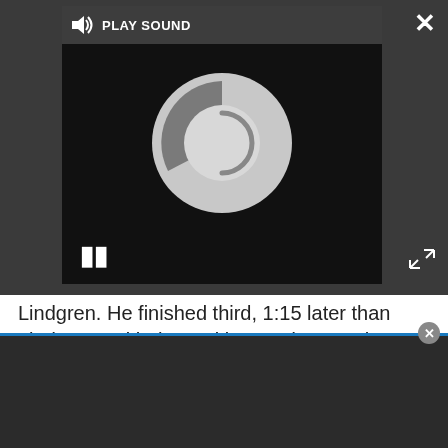[Figure (screenshot): Media player overlay with dark background, showing a loading/spinning circle graphic, a PLAY SOUND label bar at top, pause button, close X button, and expand arrows.]
Lindgren. He finished third, 1:15 later than Lindgren. With the ranking on day two the same as on day one, the overall classification also stayed the same with Kulhavy still leading.
Advertisement